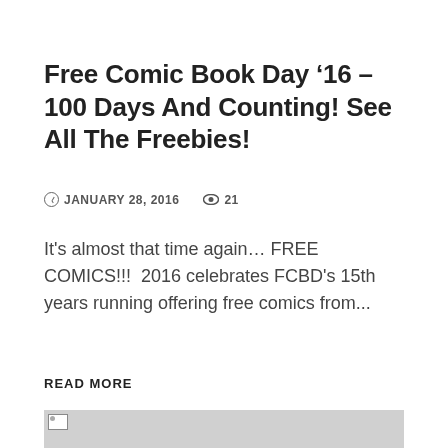Free Comic Book Day '16 – 100 Days And Counting! See All The Freebies!
JANUARY 28, 2016   21
It's almost that time again… FREE COMICS!!!  2016 celebrates FCBD's 15th years running offering free comics from...
READ MORE
[Figure (photo): Image placeholder with broken image icon on grey background]